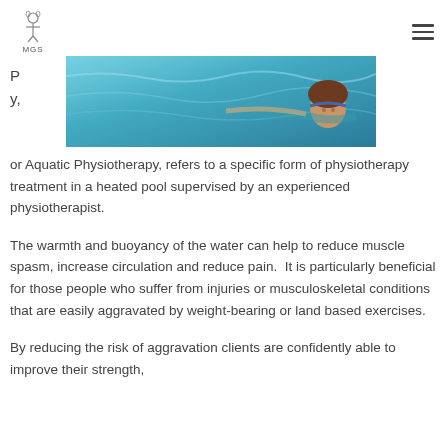MGS logo and navigation menu
[Figure (photo): Person swimming in a pool, aquatic physiotherapy session, blue-green water visible]
P y,
or Aquatic Physiotherapy, refers to a specific form of physiotherapy treatment in a heated pool supervised by an experienced physiotherapist.
The warmth and buoyancy of the water can help to reduce muscle spasm, increase circulation and reduce pain.  It is particularly beneficial for those people who suffer from injuries or musculoskeletal conditions that are easily aggravated by weight-bearing or land based exercises.
By reducing the risk of aggravation clients are confidently able to improve their strength,